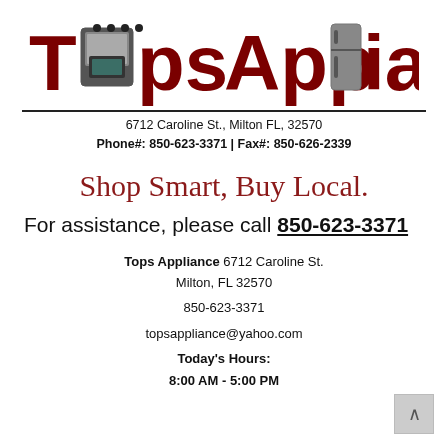[Figure (logo): Tops Appliance logo with stylized text and appliance icons (stove and refrigerator) replacing letters]
6712 Caroline St., Milton FL, 32570
Phone#: 850-623-3371 | Fax#: 850-626-2339
Shop Smart, Buy Local.
For assistance, please call 850-623-3371
Tops Appliance
6712 Caroline St.
Milton, FL 32570

850-623-3371

topsappliance@yahoo.com

Today's Hours:
8:00 AM - 5:00 PM